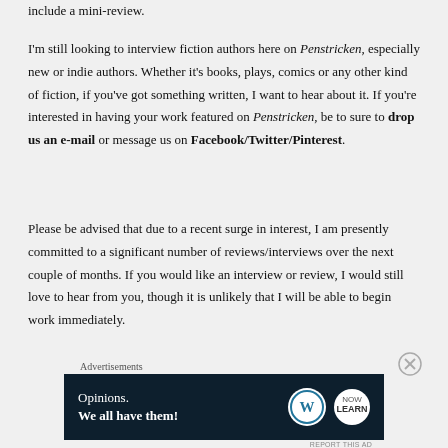include a mini-review.
I'm still looking to interview fiction authors here on Penstricken, especially new or indie authors. Whether it's books, plays, comics or any other kind of fiction, if you've got something written, I want to hear about it. If you're interested in having your work featured on Penstricken, be to sure to drop us an e-mail or message us on Facebook/Twitter/Pinterest.
Please be advised that due to a recent surge in interest, I am presently committed to a significant number of reviews/interviews over the next couple of months. If you would like an interview or review, I would still love to hear from you, though it is unlikely that I will be able to begin work immediately.
Advertisements
[Figure (infographic): Advertisement banner with dark navy background showing text 'Opinions. We all have them!' with WordPress and another logo on the right side.]